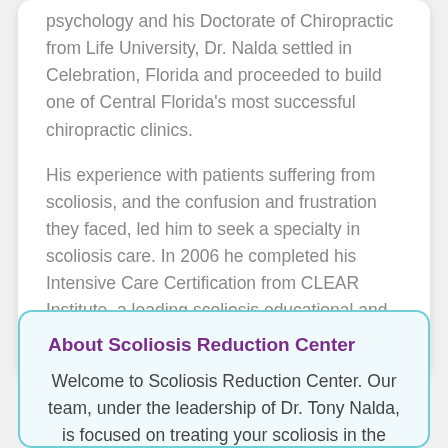psychology and his Doctorate of Chiropractic from Life University, Dr. Nalda settled in Celebration, Florida and proceeded to build one of Central Florida's most successful chiropractic clinics.
His experience with patients suffering from scoliosis, and the confusion and frustration they faced, led him to seek a specialty in scoliosis care. In 2006 he completed his Intensive Care Certification from CLEAR Institute, a leading scoliosis educational and certification center.
About Scoliosis Reduction Center
Welcome to Scoliosis Reduction Center. Our team, under the leadership of Dr. Tony Nalda, is focused on treating your scoliosis in the most